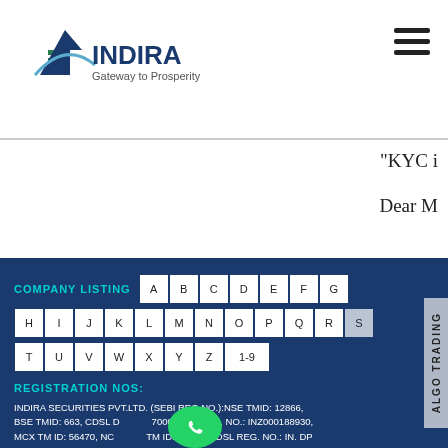[Figure (logo): Indira Securities logo with arrow and lighthouse graphic, text 'INDIRA Gateway to Prosperity']
"KYC i
Dear M
COMPANY LISTING
A B C D E F G H I J K L M N O P Q R S T U V W X Y Z 1-9
REGISTRATION NOS:
INDIRA SECURITIES PVT.LTD. (SEBI REG.NO.):NSE TMID: 12866, BSE TMID: 663, CDSL DP: 7000 SEBI REG. NO.: INZ000188930, MCX TM ID: 56470, NCDEX TM ID: 01277, CDSL REG. NO.: IN. DP